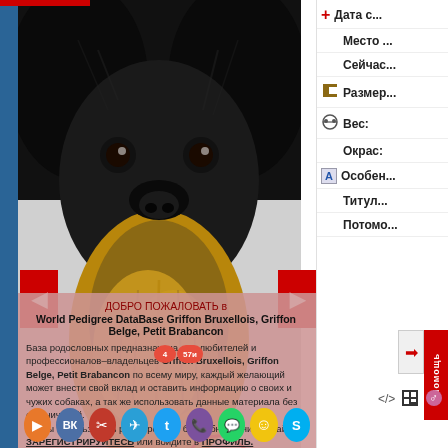[Figure (photo): Close-up photograph of a black and tan Brussels Griffon dog (Griffon Bruxellois) with fluffy fur, looking at camera. Left side of page, occupying most of the visible area.]
Дата с...
Место ...
Сейчас...
Размер...
Вес:
Окрас:
Особен...
Титул...
Потомо...
ДОБРО ПОЖАЛОВАТЬ в World Pedigree DataBase Griffon Bruxellois, Griffon Belge, Petit Brabancon
База родословных предназначена для любителей и профессионалов–владельцев Griffon Bruxellois, Griffon Belge, Petit Brabancon по всему миру, каждый желающий может внести свой вклад и оставить информацию о своих и чужих собаках, а так же использовать данные материала без ограничений.
Чтобы использовать расширенную базу обновлений онлайн ЗАРЕГИСТРИРУЙТЕСЬ или войдите в ПРОФИЛЬ.